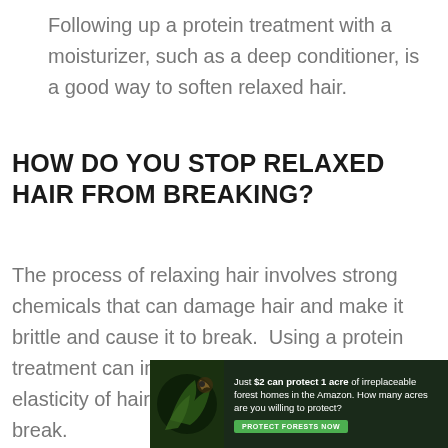Following up a protein treatment with a moisturizer, such as a deep conditioner, is a good way to soften relaxed hair.
HOW DO YOU STOP RELAXED HAIR FROM BREAKING?
The process of relaxing hair involves strong chemicals that can damage hair and make it brittle and cause it to break.  Using a protein treatment can improve the strength and elasticity of hair and make it less likely to break.
[Figure (infographic): Advertisement banner: dark forest background with bird/leaf imagery. Text reads: 'Just $2 can protect 1 acre of irreplaceable forest homes in the Amazon. How many acres are you willing to protect?' with a green 'PROTECT FORESTS NOW' button.]